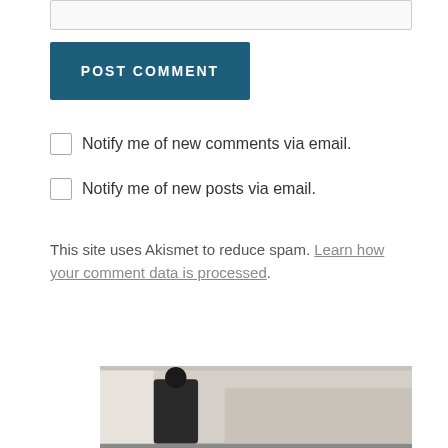[input box area]
POST COMMENT
Notify me of new comments via email.
Notify me of new posts via email.
This site uses Akismet to reduce spam. Learn how your comment data is processed.
[Figure (photo): Partial photo at bottom of page showing a dark silhouette figure against a light background]